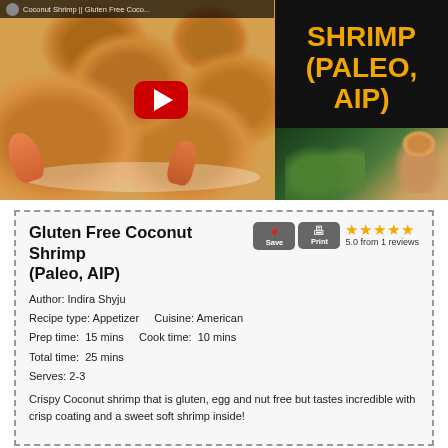[Figure (screenshot): YouTube video thumbnail for Coconut Shrimp (Paleo, AIP) recipe showing coconut shrimp on a plate with a YouTube play button overlay, and text SHRIMP (PALEO, AIP) in gold on black background on the right side]
Gluten Free Coconut Shrimp (Paleo, AIP)
Author: Indira Shyju
Recipe type: Appetizer    Cuisine: American
Prep time: 15 mins    Cook time: 10 mins
Total time: 25 mins
Serves: 2-3
Crispy Coconut shrimp that is gluten, egg and nut free but tastes incredible with crisp coating and a sweet soft shrimp inside!